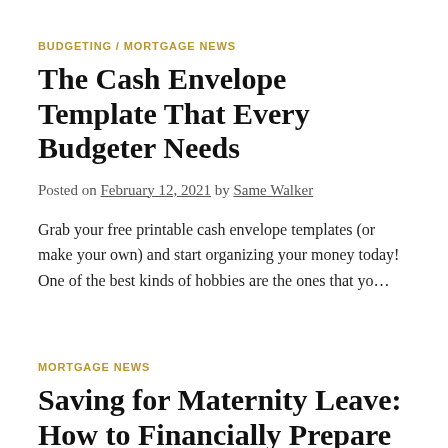BUDGETING / MORTGAGE NEWS
The Cash Envelope Template That Every Budgeter Needs
Posted on February 12, 2021 by Same Walker
Grab your free printable cash envelope templates (or make your own) and start organizing your money today! One of the best kinds of hobbies are the ones that yo...
MORTGAGE NEWS
Saving for Maternity Leave: How to Financially Prepare Your Family